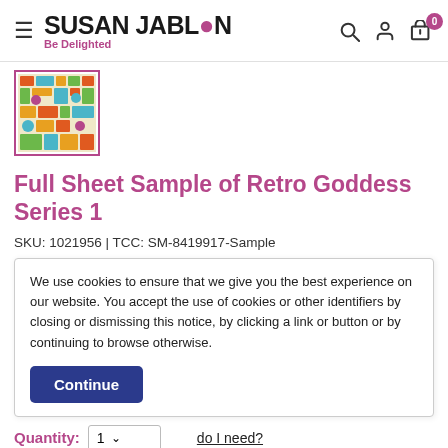Susan Jablon - Be Delighted
[Figure (photo): Thumbnail of Retro Goddess Series 1 mosaic tile sample showing colorful geometric shapes]
Full Sheet Sample of Retro Goddess Series 1
SKU: 1021956 | TCC: SM-8419917-Sample
We use cookies to ensure that we give you the best experience on our website. You accept the use of cookies or other identifiers by closing or dismissing this notice, by clicking a link or button or by continuing to browse otherwise.
Continue
Quantity: 1 ∨  do I need?